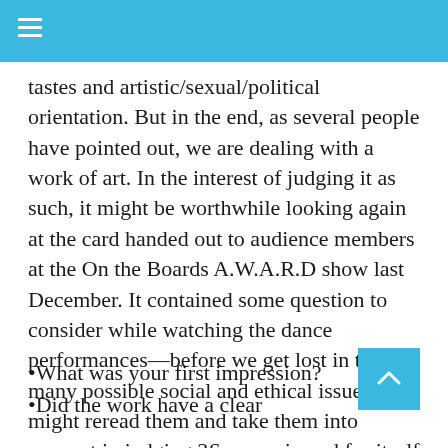tastes and artistic/sexual/political orientation. But in the end, as several people have pointed out, we are dealing with a work of art. In the interest of judging it as such, it might be worthwhile looking again at the card handed out to audience members at the On the Boards A.W.A.R.D show last December. It contained some question to consider while watching the dance performances—before we get lost in the many possible social and ethical issues, we might reread them and take them into account in judging 3Seasons in and for itself as dance art:
•What was your first impression?
•Did the work have a clear